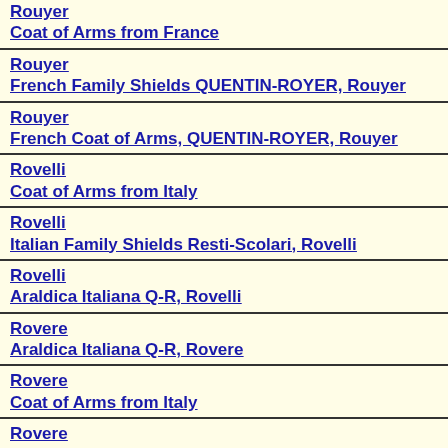Rouyer
Coat of Arms from France
Rouyer
French Family Shields QUENTIN-ROYER, Rouyer
Rouyer
French Coat of Arms, QUENTIN-ROYER, Rouyer
Rovelli
Coat of Arms from Italy
Rovelli
Italian Family Shields Resti-Scolari, Rovelli
Rovelli
Araldica Italiana Q-R, Rovelli
Rovere
Araldica Italiana Q-R, Rovere
Rovere
Coat of Arms from Italy
Rovere
Italian Family Shields Resti-Scolari, Rovere